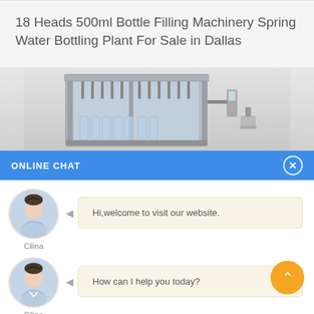18 Heads 500ml Bottle Filling Machinery Spring Water Bottling Plant For Sale in Dallas
[Figure (photo): Industrial bottle filling machine — stainless steel frame with multiple filling heads, conveyor system, and control panel]
ONLINE CHAT
Hi,welcome to visit our website.
Cilina
How can I help you today?
Cilina